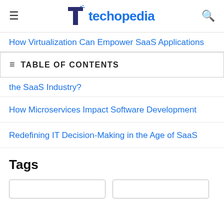techopedia
How Virtualization Can Empower SaaS Applications
TABLE OF CONTENTS
the SaaS Industry?
How Microservices Impact Software Development
Redefining IT Decision-Making in the Age of SaaS
Tags